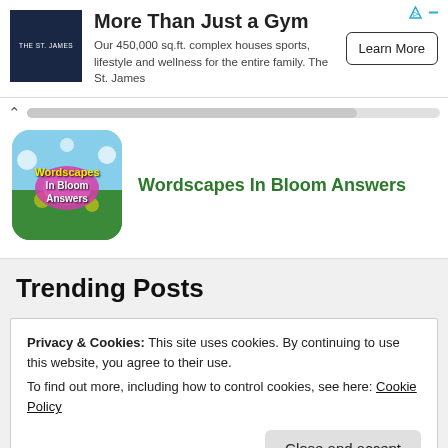[Figure (screenshot): Ad banner for The St. James gym with logo, headline 'More Than Just a Gym', description text, and Learn More button]
[Figure (screenshot): Wordscapes In Bloom Answers app icon with flowers and text on a sky/grass background]
Wordscapes In Bloom Answers
Trending Posts
Privacy & Cookies: This site uses cookies. By continuing to use this website, you agree to their use.
To find out more, including how to control cookies, see here: Cookie Policy
Close and accept